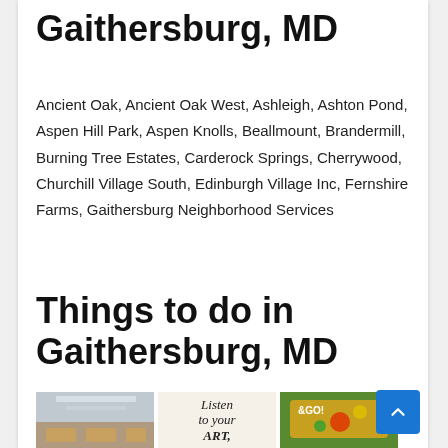Gaithersburg, MD
Ancient Oak, Ancient Oak West, Ashleigh, Ashton Pond, Aspen Hill Park, Aspen Knolls, Beallmount, Brandermill, Burning Tree Estates, Carderock Springs, Cherrywood, Churchill Village South, Edinburgh Village Inc, Fernshire Farms, Gaithersburg Neighborhood Services
Things to do in Gaithersburg, MD
[Figure (photo): Three photos in a row: a corridor with benches, an art typography sign, and a colorful game board.]